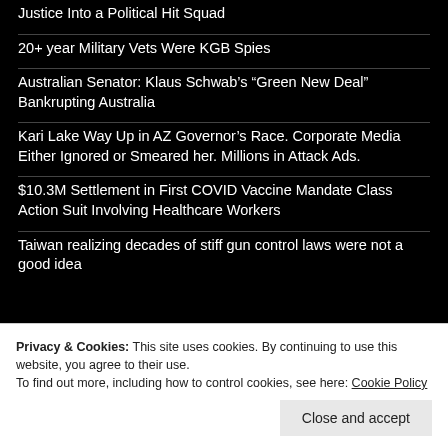Justice Into a Political Hit Squad
20+ year Military Vets Were KGB Spies
Australian Senator: Klaus Schwab's “Green New Deal” Bankrupting Australia
Kari Lake Way Up in AZ Governor’s Race. Corporate Media Either Ignored or Smeared her. Millions in Attack Ads.
$10.3M Settlement in First COVID Vaccine Mandate Class Action Suit Involving Healthcare Workers
Taiwan realizing decades of stiff gun control laws were not a good idea
Privacy & Cookies: This site uses cookies. By continuing to use this website, you agree to their use. To find out more, including how to control cookies, see here: Cookie Policy
Close and accept